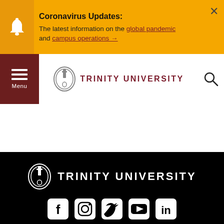Coronavirus Updates: The latest information on the global pandemic and campus operations →
[Figure (logo): Trinity University logo with bell tower icon and text TRINITY UNIVERSITY in maroon]
[Figure (logo): Trinity University white logo with bell tower icon and text TRINITY UNIVERSITY in white on black background, followed by social media icons for Facebook, Instagram, Twitter, YouTube, LinkedIn, and partial text 1-800 TRINITY]
1-800 TRINITY